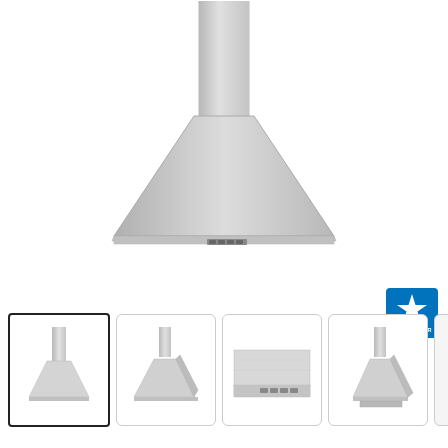[Figure (photo): Main product photo of a stainless steel wall-mount chimney range hood. The hood has a trapezoidal canopy shape with a cylindrical chimney extending upward. Small control buttons are visible on the front lower edge of the canopy.]
[Figure (logo): ENERGY STAR certification logo — blue square with white star and text.]
[Figure (photo): Thumbnail 1 (selected): Front-angled view of stainless steel chimney range hood, same as main image.]
[Figure (photo): Thumbnail 2: Angled/perspective view of stainless steel chimney range hood from below-front.]
[Figure (photo): Thumbnail 3: Close-up of the front panel/control area showing buttons on the range hood.]
[Figure (photo): Thumbnail 4: Side-angled view of stainless steel chimney range hood showing mounting bracket.]